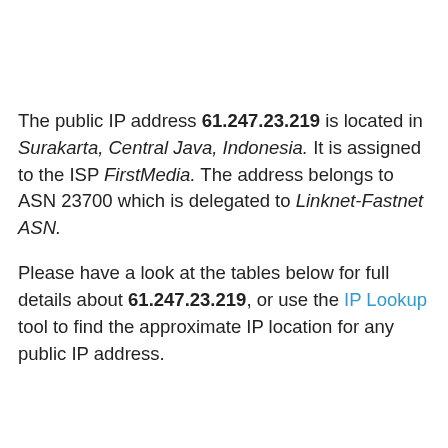The public IP address 61.247.23.219 is located in Surakarta, Central Java, Indonesia. It is assigned to the ISP FirstMedia. The address belongs to ASN 23700 which is delegated to Linknet-Fastnet ASN.
Please have a look at the tables below for full details about 61.247.23.219, or use the IP Lookup tool to find the approximate IP location for any public IP address.